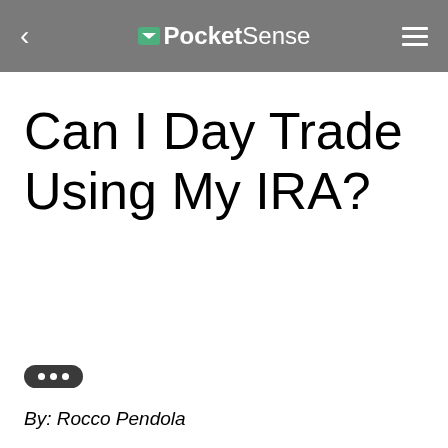PocketSense
Can I Day Trade Using My IRA?
By: Rocco Pendola